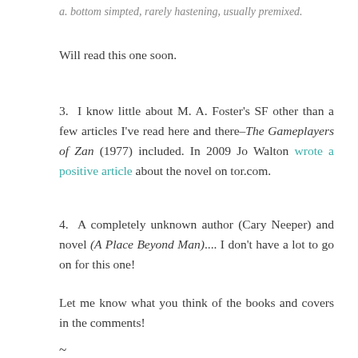a. bottom simpted, rarely hastening, usually premixed.
Will read this one soon.
3. I know little about M. A. Foster's SF other than a few articles I've read here and there–The Gameplayers of Zan (1977) included. In 2009 Jo Walton wrote a positive article about the novel on tor.com.
4. A completely unknown author (Cary Neeper) and novel (A Place Beyond Man).... I don't have a lot to go on for this one!
Let me know what you think of the books and covers in the comments!
~